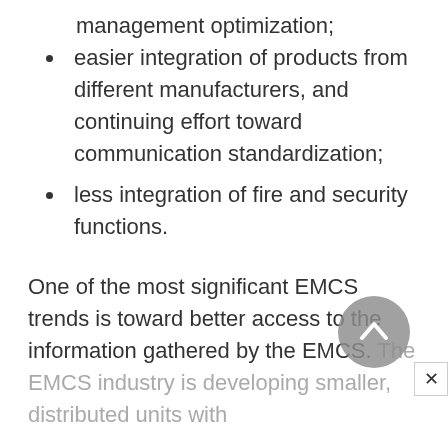management optimization;
easier integration of products from different manufacturers, and continuing effort toward communication standardization;
less integration of fire and security functions.
One of the most significant EMCS trends is toward better access to the information gathered by the EMCS. The EMCS industry is developing smaller, distributed units with